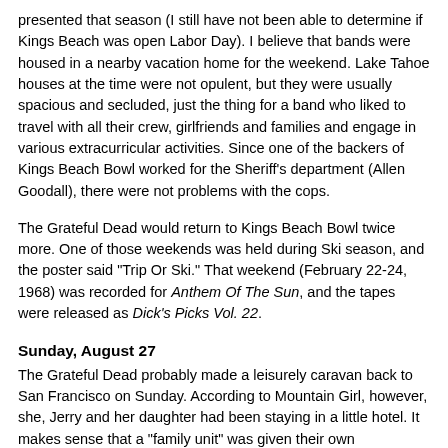presented that season (I still have not been able to determine if Kings Beach was open Labor Day). I believe that bands were housed in a nearby vacation home for the weekend. Lake Tahoe houses at the time were not opulent, but they were usually spacious and secluded, just the thing for a band who liked to travel with all their crew, girlfriends and families and engage in various extracurricular activities. Since one of the backers of Kings Beach Bowl worked for the Sheriff's department (Allen Goodall), there were not problems with the cops.
The Grateful Dead would return to Kings Beach Bowl twice more. One of those weekends was held during Ski season, and the poster said "Trip Or Ski." That weekend (February 22-24, 1968) was recorded for Anthem Of The Sun, and the tapes were released as Dick's Picks Vol. 22.
Sunday, August 27
The Grateful Dead probably made a leisurely caravan back to San Francisco on Sunday. According to Mountain Girl, however, she, Jerry and her daughter had been staying in a little hotel. It makes sense that a "family unit" was given their own accommodations, even if the rest of the gang was having...